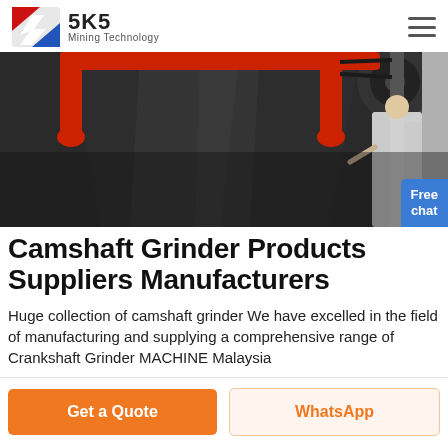SKS Mining Technology
[Figure (photo): Close-up photo of a large industrial grinder machine, showing a dark conical grinding chamber with red metal frame and brackets, belt drive visible at top right. A person in white coat is partially visible at right edge. Blue 'Free chat' button overlay at bottom right.]
Camshaft Grinder Products Suppliers Manufacturers
Huge collection of camshaft grinder We have excelled in the field of manufacturing and supplying a comprehensive range of Crankshaft Grinder MACHINE Malaysia
Get a Quote
WhatsApp